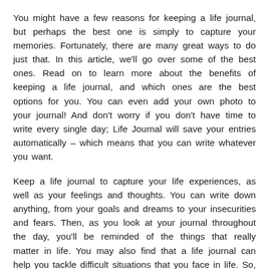You might have a few reasons for keeping a life journal, but perhaps the best one is simply to capture your memories. Fortunately, there are many great ways to do just that. In this article, we'll go over some of the best ones. Read on to learn more about the benefits of keeping a life journal, and which ones are the best options for you. You can even add your own photo to your journal! And don't worry if you don't have time to write every single day; Life Journal will save your entries automatically – which means that you can write whatever you want.
Keep a life journal to capture your life experiences, as well as your feelings and thoughts. You can write down anything, from your goals and dreams to your insecurities and fears. Then, as you look at your journal throughout the day, you'll be reminded of the things that really matter in life. You may also find that a life journal can help you tackle difficult situations that you face in life. So, try it out today!